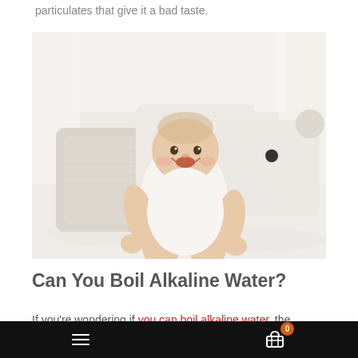particulates that give it a bad taste.
[Figure (photo): A smiling baby in a white onesie sitting on a white bed with cream-colored pillows, a teddy bear pillow visible in the background, and sheer white curtains.]
Can You Boil Alkaline Water?
If you're wondering if you can boil alkaline water, the answer is
Navigation bar with hamburger menu and shopping cart icon with badge showing 0